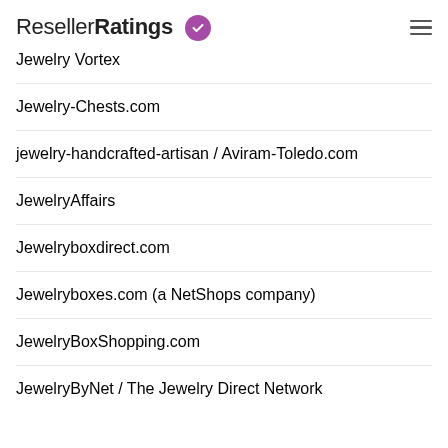ResellerRatings
Jewelry Vortex
Jewelry-Chests.com
jewelry-handcrafted-artisan / Aviram-Toledo.com
JewelryAffairs
Jewelryboxdirect.com
Jewelryboxes.com (a NetShops company)
JewelryBoxShopping.com
JewelryByNet / The Jewelry Direct Network